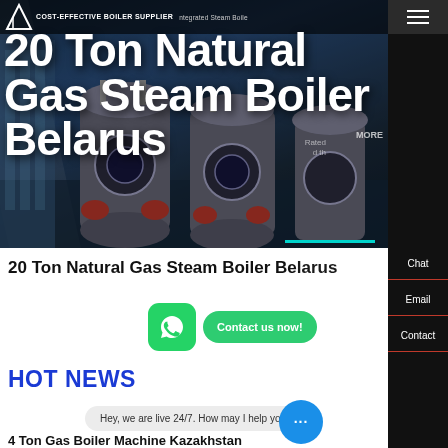[Figure (screenshot): Screenshot of a boiler supplier website showing industrial gas steam boilers (blue cylindrical units) in the hero banner background]
COST-EFFECTIVE BOILER SUPPLIER
20 Ton Natural Gas Steam Boiler Belarus
20 Ton Natural Gas Steam Boiler Belarus
HOT NEWS
Hey, we are live 24/7. How may I help you?
4 Ton Gas Boiler Machine Kazakhstan